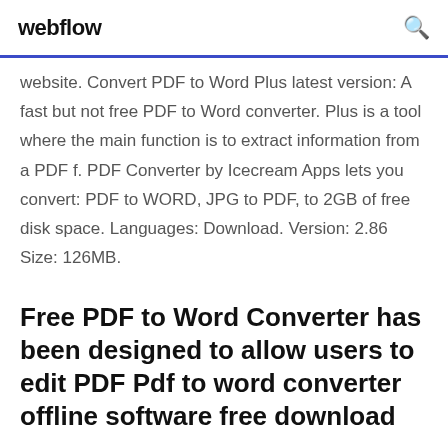webflow
website. Convert PDF to Word Plus latest version: A fast but not free PDF to Word converter. Plus is a tool where the main function is to extract information from a PDF f. PDF Converter by Icecream Apps lets you convert: PDF to WORD, JPG to PDF, to 2GB of free disk space. Languages: Download. Version: 2.86 Size: 126MB.
Free PDF to Word Converter has been designed to allow users to edit PDF Pdf to word converter offline software free download